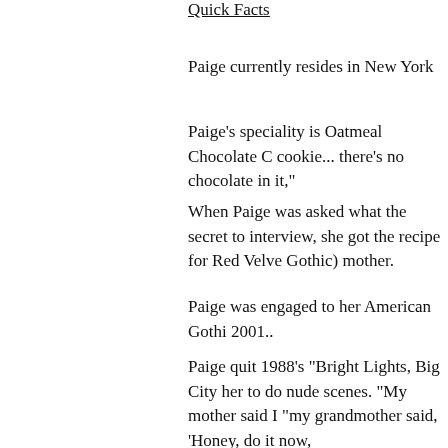Quick Facts
Paige currently resides in New York
Paige's speciality is Oatmeal Chocolate C cookie... there's no chocolate in it,"
When Paige was asked what the secret to interview, she got the recipe for Red Velve Gothic) mother.
Paige was engaged to her American Gothi 2001..
Paige quit 1988's "Bright Lights, Big City her to do nude scenes. "My mother said I "my grandmother said, 'Honey, do it now,
Paige went nude in the film Dark Tides
When Paige visited CIA grounds Langley week background check.
Paige married her 'The Agency' co star Jas